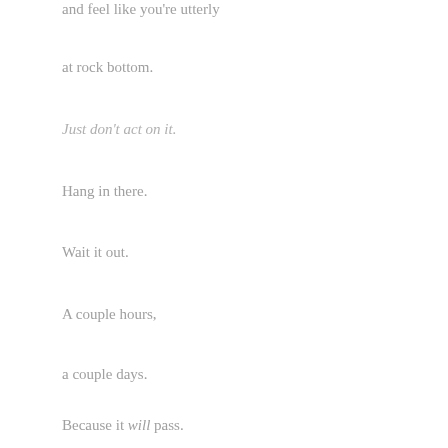and feel like you're utterly
at rock bottom.
Just don't act on it.
Hang in there.
Wait it out.
A couple hours,
a couple days.
Because it will pass.